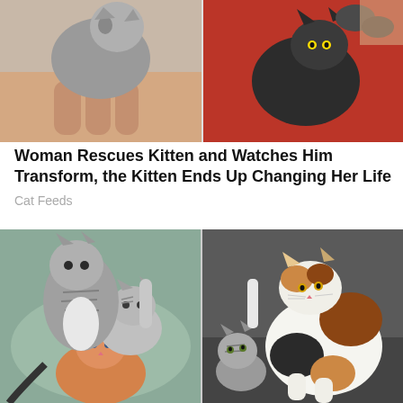[Figure (photo): Two newborn kittens being held by human hands — left photo shows a tiny gray kitten cradled in fingers, right photo shows a dark-colored kitten with red blanket background]
Woman Rescues Kitten and Watches Him Transform, the Kitten Ends Up Changing Her Life
Cat Feeds
[Figure (photo): Four-panel composite: left side shows three tabby kittens playfully stacked on a teal cushion; right side shows an adult calico cat with a small tabby kitten looking up at it on a dark floor]